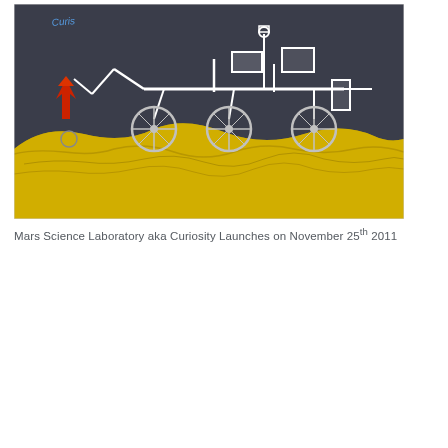[Figure (illustration): Child's chalk or pastel drawing on dark paper showing a Mars rover (resembling Curiosity) with large wheels, a robotic arm, and instruments on top. The lower portion shows bright yellow terrain representing the Martian surface. A red rocket or flame shape is visible on the left side. Blue handwritten text in the upper left corner.]
Mars Science Laboratory aka Curiosity Launches on November 25th 2011